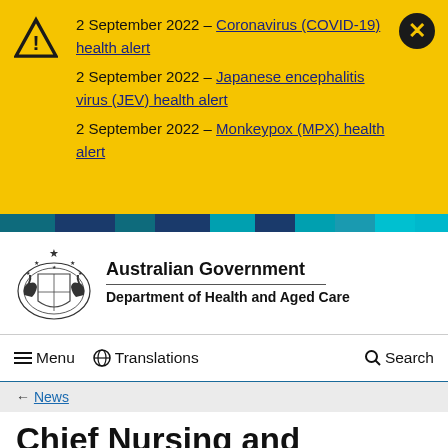2 September 2022 – Coronavirus (COVID-19) health alert
2 September 2022 – Japanese encephalitis virus (JEV) health alert
2 September 2022 – Monkeypox (MPX) health alert
[Figure (logo): Australian Government Coat of Arms with kangaroo and emu]
Australian Government
Department of Health and Aged Care
≡ Menu  🌐 Translations  🔍 Search
← News
Chief Nursing and Midwifery Officer interview